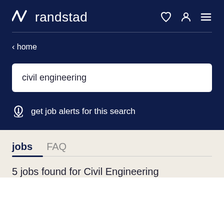randstad
‹ home
civil engineering
get job alerts for this search
jobs   FAQ
5 jobs found for Civil Engineering